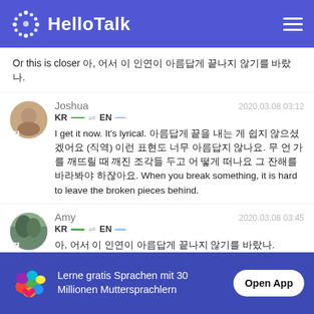[Figure (logo): HelloTalk app header with logo and hamburger menu]
Or this is closer 아, 어서 이 인연이 아름답게 끝나지 않기를 바랐나.
Joshua   2020.03.08 03:12
KR → EN
I get it now. It's lyrical. 아름답게 끝을 내는 게 쉽지 않으셨겠어요 (직역) 이런 표현도 너무 아름답지 않나요. 무 언 가를 깨뜨릴 때 깨진 조각들 두고 어 떻게 떠나요 그 잔해를 바라봐야 하잖아요. When you break something, it is hard to leave the broken pieces behind.
Amy   2020.03.08 03:45
KR → EN
아, 어서 이 인연이 아름답게 끝나지 않기를 바랐나.
Lerne gratis Sprachen mit 30 Millionen Muttersprachlern
Open App